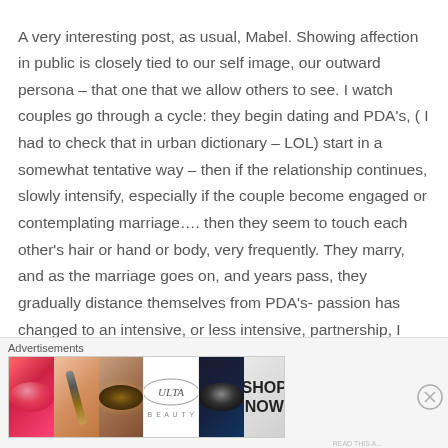A very interesting post, as usual, Mabel. Showing affection in public is closely tied to our self image, our outward persona – that one that we allow others to see. I watch couples go through a cycle: they begin dating and PDA's, ( I had to check that in urban dictionary – LOL) start in a somewhat tentative way – then if the relationship continues, slowly intensify, especially if the couple become engaged or contemplating marriage…. then they seem to touch each other's hair or hand or body, very frequently. They marry, and as the marriage goes on, and years pass, they gradually distance themselves from PDA's- passion has changed to an intensive, or less intensive, partnership, I think. It is also a moot point about elderly people showing physical affection...
Advertisements
[Figure (other): Advertisements banner for ULTA beauty products showing lips with lipstick, makeup brush, eye with eyeshadow, ULTA logo, smoky eye, and SHOP NOW button]